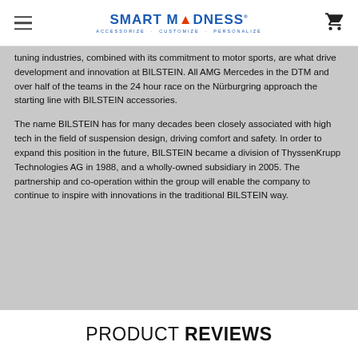Smart Madness — Accessorize · Customize · Personalize
tuning industries, combined with its commitment to motor sports, are what drive development and innovation at BILSTEIN. All AMG Mercedes in the DTM and over half of the teams in the 24 hour race on the Nürburgring approach the starting line with BILSTEIN accessories.
The name BILSTEIN has for many decades been closely associated with high tech in the field of suspension design, driving comfort and safety. In order to expand this position in the future, BILSTEIN became a division of ThyssenKrupp Technologies AG in 1988, and a wholly-owned subsidiary in 2005. The partnership and co-operation within the group will enable the company to continue to inspire with innovations in the traditional BILSTEIN way.
PRODUCT REVIEWS